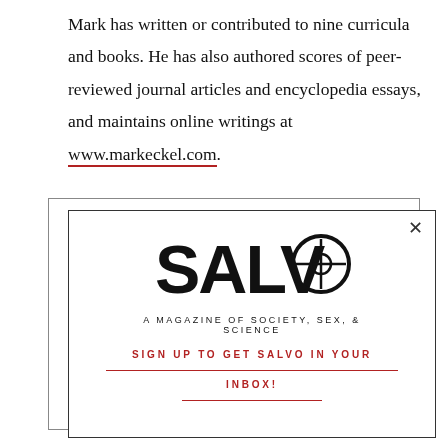Mark has written or contributed to nine curricula and books. He has also authored scores of peer-reviewed journal articles and encyclopedia essays, and maintains online writings at www.markeckel.com.
[Figure (other): Salvo magazine subscription popup modal with SALVO logo (crosshair O), tagline 'A MAGAZINE OF SOCIETY, SEX, & SCIENCE', and call-to-action 'SIGN UP TO GET SALVO IN YOUR INBOX!' with red underlines, close X button]